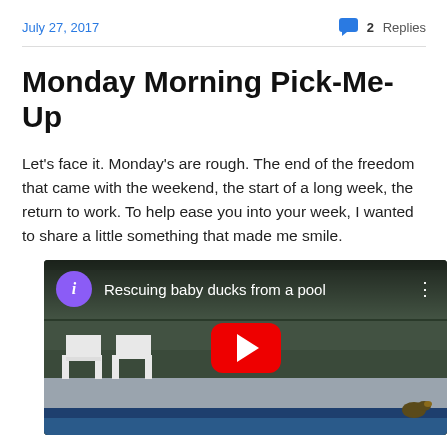July 27, 2017
2 Replies
Monday Morning Pick-Me-Up
Let’s face it. Monday’s are rough. The end of the freedom that came with the weekend, the start of a long week, the return to work. To help ease you into your week, I wanted to share a little something that made me smile.
[Figure (screenshot): YouTube video embed showing 'Rescuing baby ducks from a pool' with a purple channel icon, video title, three-dot menu, and red YouTube play button overlaid on a screenshot of a pool area with chairs and a duck.]